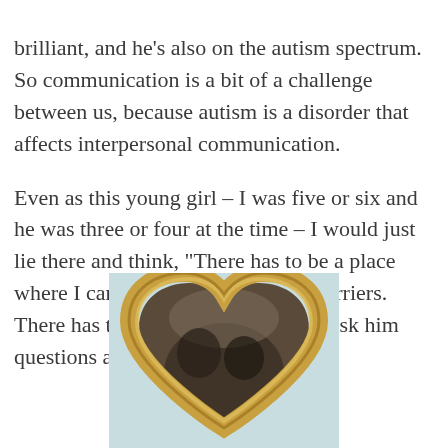brilliant, and he’s also on the autism spectrum. So communication is a bit of a challenge between us, because autism is a disorder that affects interpersonal communication.
Even as this young girl – I was five or six and he was three or four at the time – I would just lie there and think, “There has to be a place where I can talk to Willie with no barriers. There has to be a place where I can ask him questions and get the real answers.”
[Figure (photo): A heart-shaped gold/brass picture frame with a photo inside showing two children or figures reflected in the frame, set against a light background.]